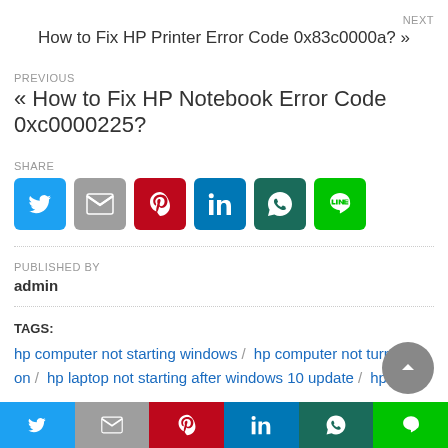NEXT
How to Fix HP Printer Error Code 0x83c0000a? »
PREVIOUS
« How to Fix HP Notebook Error Code 0xc0000225?
SHARE
[Figure (infographic): Row of six share buttons: Twitter (blue), Gmail (grey), Pinterest (red), LinkedIn (blue), WhatsApp (dark green), Line (green)]
PUBLISHED BY
admin
TAGS:
hp computer not starting windows / hp computer not turning on / hp laptop not starting after windows 10 update / hp
[Figure (infographic): Bottom sticky share bar with six buttons: Twitter, Gmail, Pinterest, LinkedIn, WhatsApp, Line]